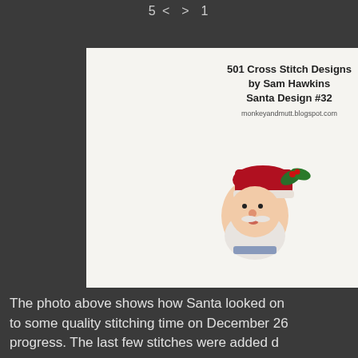5 < > 1
[Figure (photo): Cross stitch photo of Santa Claus in progress on white fabric, labeled '501 Cross Stitch Designs by Sam Hawkins, Santa Design #32, monkeyandmutt.blogspot.com']
The photo above shows how Santa looked on to some quality stitching time on December 26 progress. The last few stitches were added d